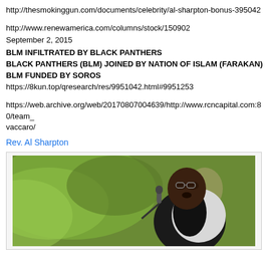http://thesmokinggun.com/documents/celebrity/al-sharpton-bonus-395042
http://www.renewamerica.com/columns/stock/150902
September 2, 2015
BLM INFILTRATED BY BLACK PANTHERS
BLACK PANTHERS (BLM) JOINED BY NATION OF ISLAM (FARAKAN)
BLM FUNDED BY SOROS
https://8kun.top/qresearch/res/9951042.html#9951253
https://web.archive.org/web/20170807004639/http://www.rcncapital.com:80/team_vaccaro/
Rev. Al Sharpton
[Figure (photo): Photo of Rev. Al Sharpton speaking into a microphone, wearing a white shirt and black vest, with green foliage in the background]